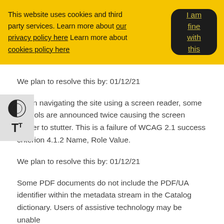This website uses cookies and third party services. Learn more about our privacy policy here Learn more about cookies policy here
[Figure (other): Dark rounded rectangle button with yellow-green text reading 'I am fine with this']
We plan to resolve this by: 01/12/21
[Figure (other): Sidebar accessibility widget with contrast icon and text resize icon]
When navigating the site using a screen reader, some controls are announced twice causing the screen reader to stutter. This is a failure of WCAG 2.1 success criterion 4.1.2 Name, Role Value.
We plan to resolve this by: 01/12/21
Some PDF documents do not include the PDF/UA identifier within the metadata stream in the Catalog dictionary. Users of assistive technology may be unable